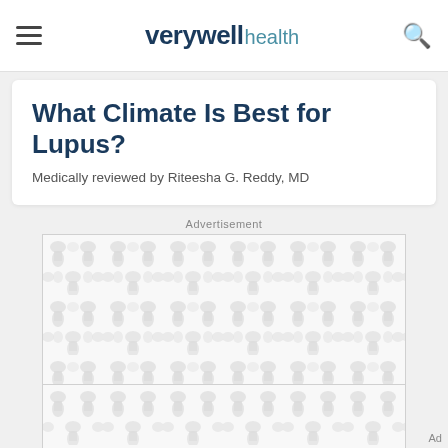verywell health
What Climate Is Best for Lupus?
Medically reviewed by Riteesha G. Reddy, MD
Advertisement
[Figure (other): Advertisement placeholder with decorative grey blob pattern]
[Figure (other): Advertisement placeholder strip with decorative grey blob pattern]